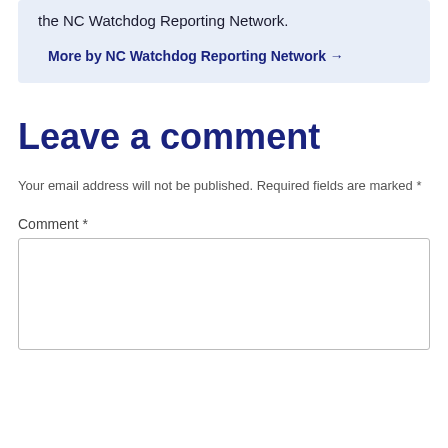the NC Watchdog Reporting Network.
More by NC Watchdog Reporting Network →
Leave a comment
Your email address will not be published. Required fields are marked *
Comment *